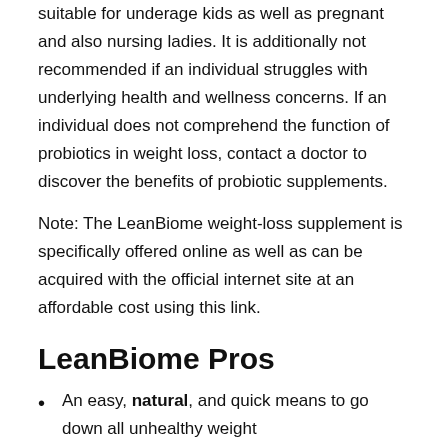suitable for underage kids as well as pregnant and also nursing ladies. It is additionally not recommended if an individual struggles with underlying health and wellness concerns. If an individual does not comprehend the function of probiotics in weight loss, contact a doctor to discover the benefits of probiotic supplements.
Note: The LeanBiome weight-loss supplement is specifically offered online as well as can be acquired with the official internet site at an affordable cost using this link.
LeanBiome Pros
An easy, natural, and quick means to go down all unhealthy weight
Fat decrease from the stubborn areas such as the stomach, upper legs, etc.
High power degrees throughout weight reduction and also no weak point or sluggish sensation